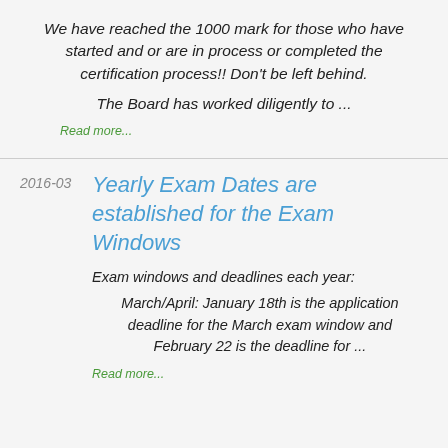We have reached the 1000 mark for those who have started and or are in process or completed the certification process!!  Don't be left behind.
The Board has worked diligently to ...
Read more...
Yearly Exam Dates are established for the Exam Windows
Exam windows and deadlines each year:
March/April: January 18th is the application deadline for the March exam window and February 22 is the deadline for ...
Read more...